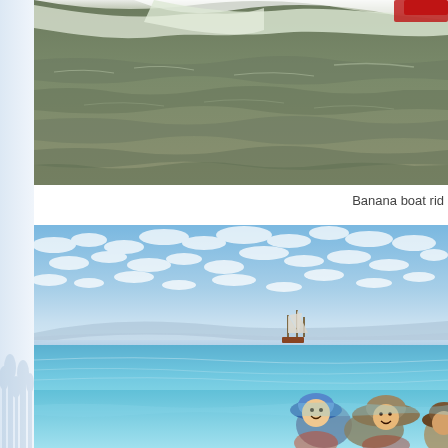[Figure (photo): Ocean water scene with waves and wake from a boat, choppy water in foreground, red object visible at top edge]
Banana boat rid
[Figure (photo): Beach scene with blue sky and scattered clouds, calm turquoise sea water, a sailing ship visible on the horizon, children wearing hats in the foreground water]